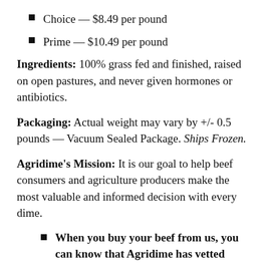Choice — $8.49 per pound
Prime — $10.49 per pound
Ingredients: 100% grass fed and finished, raised on open pastures, and never given hormones or antibiotics.
Packaging: Actual weight may vary by +/- 0.5 pounds — Vacuum Sealed Package. Ships Frozen.
Agridime's Mission: It is our goal to help beef consumers and agriculture producers make the most valuable and informed decision with every dime.
When you buy your beef from us, you can know that Agridime has vetted